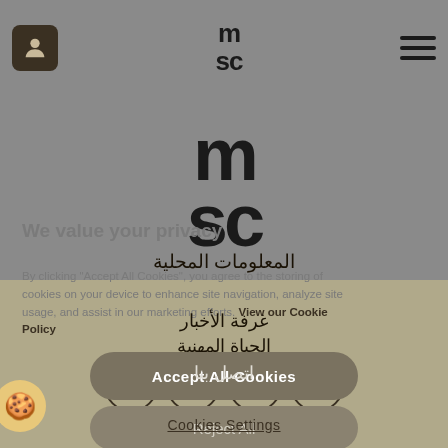MSC navigation bar with user icon, MSC logo, and hamburger menu
[Figure (logo): Large MSC logo centered on grey background]
We value your privacy
المعلومات المحلية
By clicking "Accept All Cookies", you agree to the storing of cookies on your device to enhance site navigation, analyze site usage, and assist in our marketing efforts. View our Cookie Policy
غرفة الأخبار
الحياة المهنية
اتصل بنا
Accept All Cookies
Reject All
[Figure (infographic): Four social media icons in circles: LinkedIn, Instagram, Twitter, Facebook]
Cookies Settings
US / MSC NEW YORK: Agency